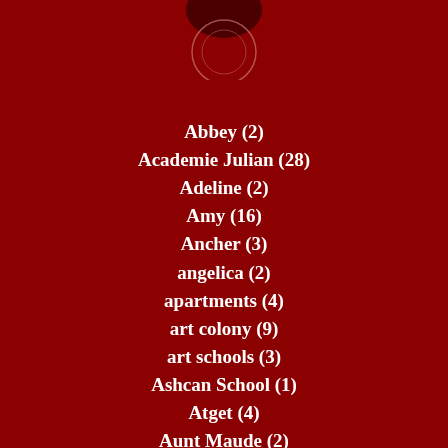[Figure (other): Partial circular decorative element at top center, dark red/maroon tones with a lighter circle outline visible]
Abbey (2)
Academie Julian (28)
Adeline (2)
Amy (16)
Ancher (3)
angelica (2)
apartments (4)
art colony (9)
art schools (3)
Ashcan School (1)
Atget (4)
Aunt Maude (2)
badger (1)
Bashkirtseff (4)
Bastien-Lepage (1)
Bauck (2)